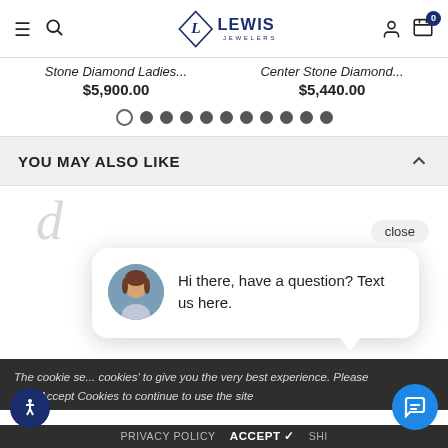Lewis Jewelers
Stone Diamond Ladies... $5,900.00
Center Stone Diamond... $5,440.00
[Figure (illustration): Carousel navigation dots, 11 dots total, first dot empty/outlined, rest filled gray]
YOU MAY ALSO LIKE
[Figure (photo): Partial view of a diamond jewelry piece, partially obscured by chat popup]
[Figure (screenshot): Chat popup with female avatar saying: Hi there, have a question? Text us here. With a close button.]
The cookie se... cookies' to give you the very best experience. Please click Accept Cookies to continue to use the site
PRIVACY POLICY   ACCEPT ✓ SHI